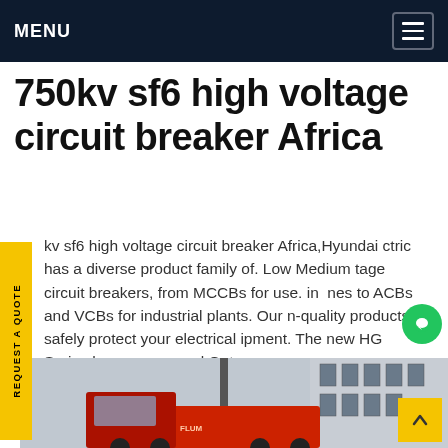MENU
750kv sf6 high voltage circuit breaker Africa
kv sf6 high voltage circuit breaker Africa,Hyundai ctric has a diverse product family of. Low Medium tage circuit breakers, from MCCBs for use. in nes to ACBs and VCBs for industrial plants. Our n-quality products safely protect your electrical ipment. The new HG Series has won several.Get se
[Figure (photo): Photo of red industrial vehicle/crane equipment in front of a building with glass windows]